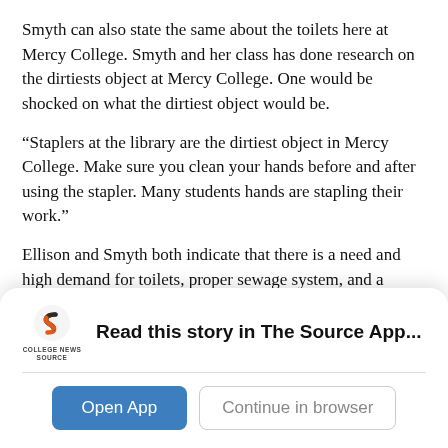Smyth can also state the same about the toilets here at Mercy College. Smyth and her class has done research on the dirtiests object at Mercy College. One would be shocked on what the dirtiest object would be.
“Staplers at the library are the dirtiest object in Mercy College. Make sure you clean your hands before and after using the stapler. Many students hands are stapling their work.”
Ellison and Smyth both indicate that there is a need and high demand for toilets, proper sewage system, and a better life for sanitation for people throughout the world.
“A lot of countries want to invest money in the military and infrastructure but nobody wants to invest money in toilets. No
[Figure (logo): College News Source logo: stylized S icon in dark/orange color, with 'COLLEGE NEWS SOURCE' text below]
Read this story in The Source App...
Open App
Continue in browser